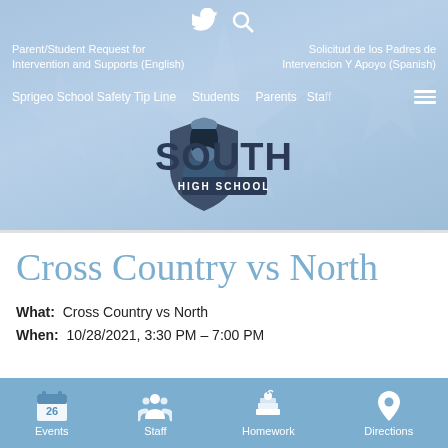South High School website header with navigation links: Parent/Student Request for Intervention and Supports (English), Solicitud de los Padres de Intervencion Y Apoyo (Spanish), Sprigeo School Safety Tip Line, Students, Parents, Staff
[Figure (logo): South High School logo with mascot (warrior/reaper figure) and text SOUTH HIGH SCHOOL]
Cross Country vs North
What:  Cross Country vs North
When:  10/28/2021, 3:30 PM – 7:00 PM
Events | Staff | Homework | Directions